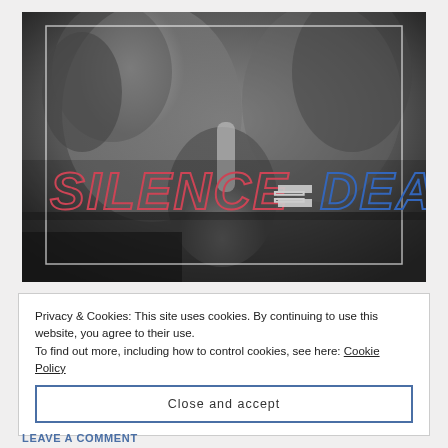[Figure (photo): Black and white photo of two people, one holding a finger to their lips in a 'shh' gesture. Overlaid text reads 'SILENCE = DEATH' in large bold stylized letters — 'SILENCE' in red/pink outline, '=' as a white/grey symbol, 'DEATH' in blue outline. A thin white rectangle border overlays the inner portion of the image.]
Privacy & Cookies: This site uses cookies. By continuing to use this website, you agree to their use.
To find out more, including how to control cookies, see here: Cookie Policy
Close and accept
LEAVE A COMMENT